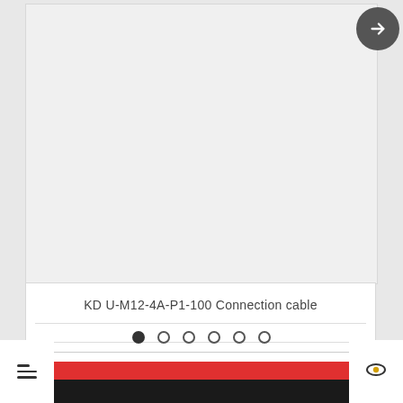[Figure (photo): Product image placeholder — light gray rectangular area for KD U-M12-4A-P1-100 Connection cable]
KD U-M12-4A-P1-100 Connection cable
VÄLJ
[Figure (other): Carousel pagination dots — 6 dots, first one filled/active, rest are empty circles]
[Figure (screenshot): Bottom navigation bar with hamburger menu icon on left white panel, red and black bar in center, eye/visibility icon on right white panel]